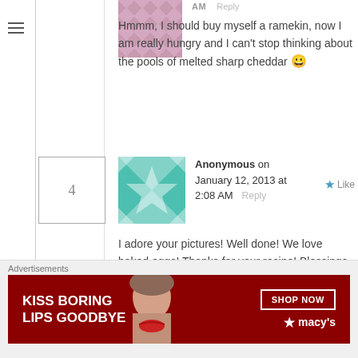[Figure (screenshot): Blog comment section showing user comments with avatars, a hamburger menu icon, comment numbering boxes, reply links, like buttons, and an advertisement banner at the bottom for Macy's lip products.]
Hmmm, I should buy myself a ramekin, now I am really hungry and I can't stop thinking about the pools of melted sharp cheddar 😀
Anonymous on January 12, 2013 at 2:08 AM  Reply  Like
I adore your pictures! Well done! We love baked eggs! Thanks for your recipe! Blessings
aagaaa on January 12, 2013 at 2:12
Advertisements
KISS BORING LIPS GOODBYE  SHOP NOW  ★ macy's